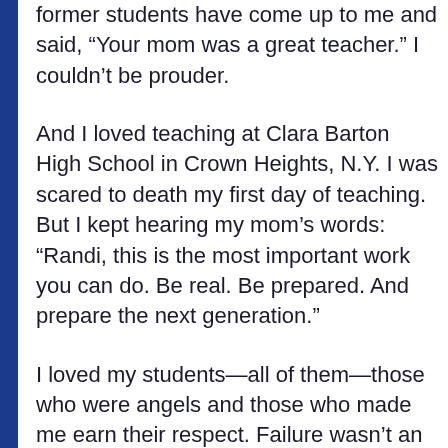former students have come up to me and said, “Your mom was a great teacher.” I couldn’t be prouder.
And I loved teaching at Clara Barton High School in Crown Heights, N.Y. I was scared to death my first day of teaching. But I kept hearing my mom’s words: “Randi, this is the most important work you can do. Be real. Be prepared. And prepare the next generation.”
I loved my students—all of them—those who were angels and those who made me earn their respect. Failure wasn’t an option for them or for me. And yet, in my government